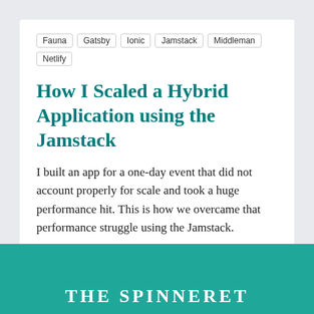Fauna   Gatsby   Ionic   Jamstack   Middleman   Netlify
How I Scaled a Hybrid Application using the Jamstack
I built an app for a one-day event that did not account properly for scale and took a huge performance hit. This is how we overcame that performance struggle using the Jamstack.
Apr 01, 2020
THE SPINNERET